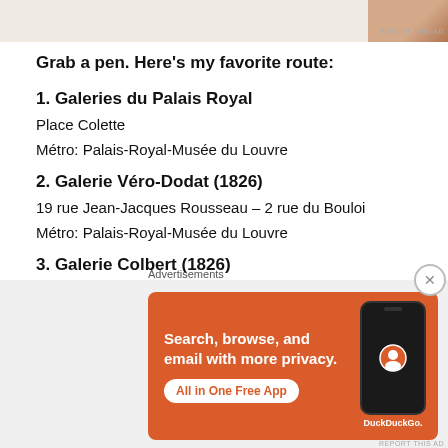[Figure (photo): Partial top advertisement image with warm beige and orange/brown colors, partially cut off at top of page]
Grab a pen. Here's my favorite route:
1. Galeries du Palais Royal
Place Colette
Métro: Palais-Royal-Musée du Louvre
2. Galerie Véro-Dodat (1826)
19 rue Jean-Jacques Rousseau – 2 rue du Bouloi
Métro: Palais-Royal-Musée du Louvre
3. Galerie Colbert (1826)
Advertisements
[Figure (screenshot): DuckDuckGo advertisement banner with orange background: 'Search, browse, and email with more privacy. All in One Free App' with phone graphic showing DuckDuckGo logo]